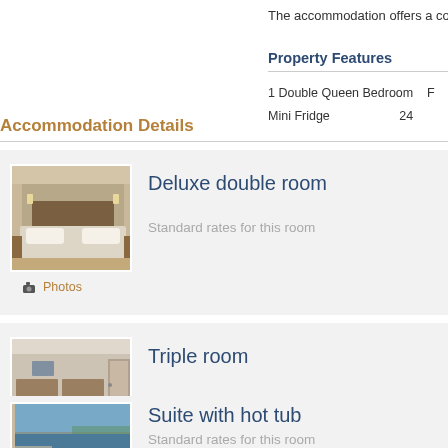The accommodation offers a co
Property Features
1 Double Queen Bedroom   F
Mini Fridge   24
Accommodation Details
[Figure (photo): Hotel deluxe double room with large bed and headboard lighting]
Deluxe double room
Standard rates for this room
📷 Photos
[Figure (photo): Hotel triple room interior with beds and corridor view]
Triple room
Standard rates for this room
📷 Photos
[Figure (photo): Suite with hot tub partial view]
Suite with hot tub
Standard rates for this room